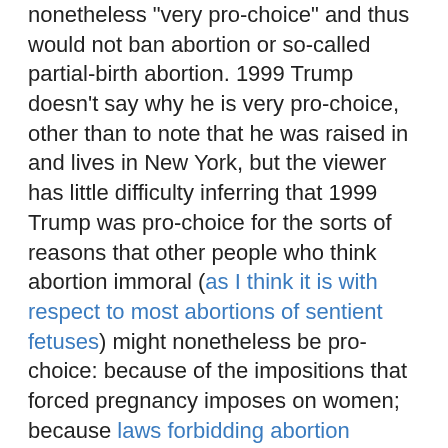nonetheless "very pro-choice" and thus would not ban abortion or so-called partial-birth abortion. 1999 Trump doesn't say why he is very pro-choice, other than to note that he was raised in and lives in New York, but the viewer has little difficulty inferring that 1999 Trump was pro-choice for the sorts of reasons that other people who think abortion immoral (as I think it is with respect to most abortions of sentient fetuses) might nonetheless be pro-choice: because of the impositions that forced pregnancy imposes on women; because laws forbidding abortion reduce its safety but not its incidence; etc.
Maybe those factors partly explain why 1999 Trump was pro-choice, but Trump also presumably had a Hefnerian reason. After all, Trump is essentially a cruder version of Hefner, and the Playboy founder seems to have been almost as much a mentor to Trump as was Roy Cohn. We also have circumstantial evidence. Both Karen McDougall and Stephanie Clifford (aka Stormy Daniels) have said that when they were having affairs with Trump in 2006, he didn't want to use a condom. Perhaps Trump assumed that McDougall and Clifford were both using birth control, although one still